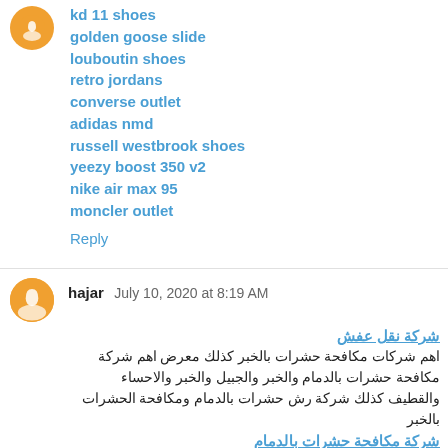kd 11 shoes
golden goose slide
louboutin shoes
retro jordans
converse outlet
adidas nmd
russell westbrook shoes
yeezy boost 350 v2
nike air max 95
moncler outlet
Reply
hajar  July 10, 2020 at 8:19 AM
شركة نقل عفش
اهم شركات مكافحة حشرات بالخبر كذلك معرض اهم شركة مكافحة حشرات بالدمام والخبر والجبيل والخبر والاحساء والقطيف كذلك شركة رش حشرات بالدمام ومكافحة الحشرات بالخبر
شركة مكافحة حشرات بالدمام
شركة تنظيف خزانات بجدة الجوهرة من افضل شركات تنظيف الخزانات بجدة حيث ان تنظيف خزانات بجدة